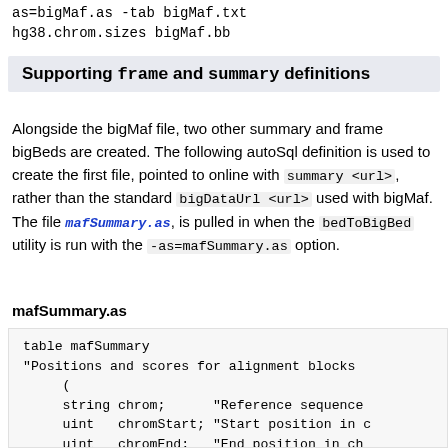as=bigMaf.as -tab bigMaf.txt
hg38.chrom.sizes bigMaf.bb
Supporting frame and summary definitions
Alongside the bigMaf file, two other summary and frame bigBeds are created. The following autoSql definition is used to create the first file, pointed to online with summary <url>, rather than the standard bigDataUrl <url> used with bigMaf. The file mafSummary.as, is pulled in when the bedToBigBed utility is run with the -as=mafSummary.as option.
mafSummary.as
table mafSummary
"Positions and scores for alignment blocks
    (
    string chrom;      "Reference sequence
    uint   chromStart; "Start position in c
    uint   chromEnd;   "End position in ch
    string src;        "Sequence name or da
    float  score;      "Floating point sco
    char[1] leftStatus; "Gap/break annota